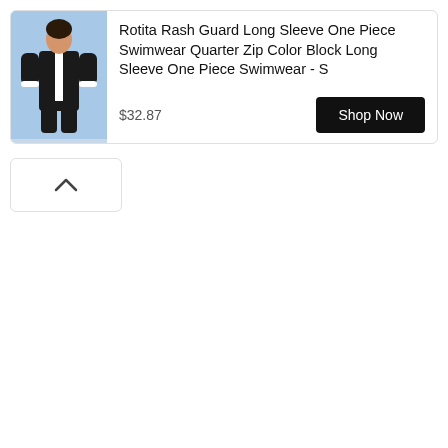[Figure (photo): Product photo of a woman wearing a black and white long sleeve one piece swimwear/rash guard with color block design and quarter zip]
Rotita Rash Guard Long Sleeve One Piece Swimwear Quarter Zip Color Block Long Sleeve One Piece Swimwear - S
$32.87
Shop Now